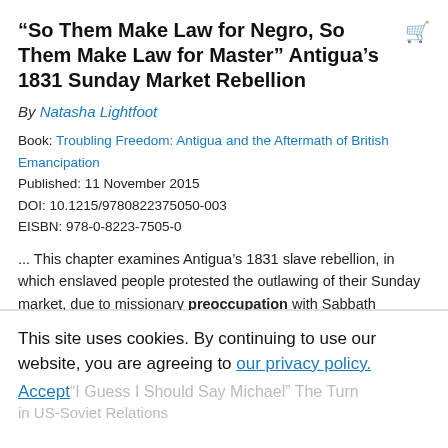“So Them Make Law for Negro, So Them Make Law for Master” Antigua’s 1831 Sunday Market Rebellion
By Natasha Lightfoot
Book: Troubling Freedom: Antigua and the Aftermath of British Emancipation
Published: 11 November 2015
DOI: 10.1215/9780822375050-003
EISBN: 978-0-8223-7505-0
... This chapter examines Antigua’s 1831 slave rebellion, in which enslaved people protested the outlawing of their Sunday market, due to missionary preoccupation with Sabbath reverence and riots in the capital, St. John’s, and a series of fires across several rural estates. This unfolded...
This site uses cookies. By continuing to use our website, you are agreeing to our privacy policy. Accept